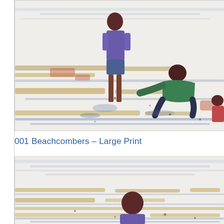[Figure (illustration): Watercolor painting of two children beachcombing at low tide — one child standing in blue shirt and shorts, another crouching in a green shirt, examining the wet sand. Loose horizontal washes of gold, brown, blue, and red suggest the tidal flat.]
001 Beachcombers – Large Print
[Figure (illustration): Partial view of the same watercolor painting (large print version) — cropped to show the upper portion with the standing child in a blue shirt and the tidal flat washes below them.]